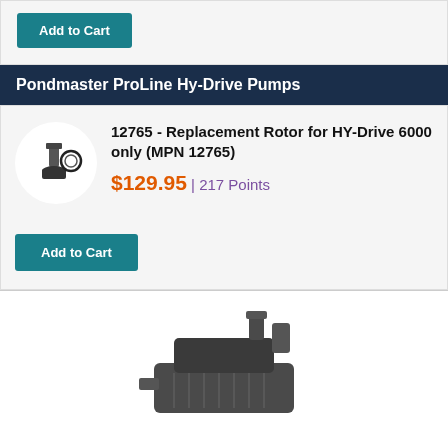Add to Cart
Pondmaster ProLine Hy-Drive Pumps
12765 - Replacement Rotor for HY-Drive 6000 only (MPN 12765)
$129.95 | 217 Points
Add to Cart
[Figure (photo): Product image of a replacement rotor pump component with circular ring]
[Figure (photo): Bottom portion showing a dark grey pond pump product photo]